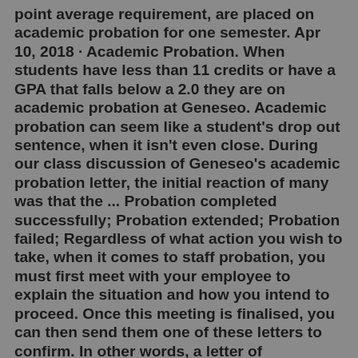point average requirement, are placed on academic probation for one semester. Apr 10, 2018 · Academic Probation. When students have less than 11 credits or have a GPA that falls below a 2.0 they are on academic probation at Geneseo. Academic probation can seem like a student's drop out sentence, when it isn't even close. During our class discussion of Geneseo's academic probation letter, the initial reaction of many was that the ... Probation completed successfully; Probation extended; Probation failed; Regardless of what action you wish to take, when it comes to staff probation, you must first meet with your employee to explain the situation and how you intend to proceed. Once this meeting is finalised, you can then send them one of these letters to confirm. In other words, a letter of recommendation from a superior, mentor, or teacher is essential if a student wishes to apply for school admission or occupation. A student recommendation letter is a document that shows a person's behavioral traits and ethics towards